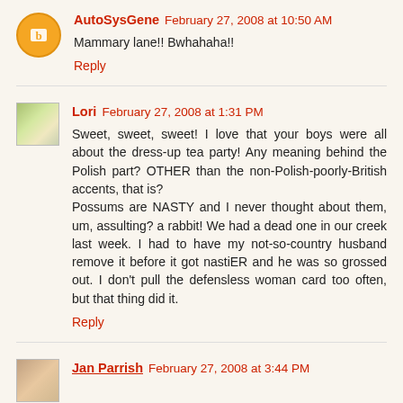AutoSysGene  February 27, 2008 at 10:50 AM
Mammary lane!! Bwhahaha!!
Reply
Lori  February 27, 2008 at 1:31 PM
Sweet, sweet, sweet! I love that your boys were all about the dress-up tea party! Any meaning behind the Polish part? OTHER than the non-Polish-poorly-British accents, that is?
Possums are NASTY and I never thought about them, um, assulting? a rabbit! We had a dead one in our creek last week. I had to have my not-so-country husband remove it before it got nastiER and he was so grossed out. I don't pull the defensless woman card too often, but that thing did it.
Reply
Jan Parrish  February 27, 2008 at 3:44 PM